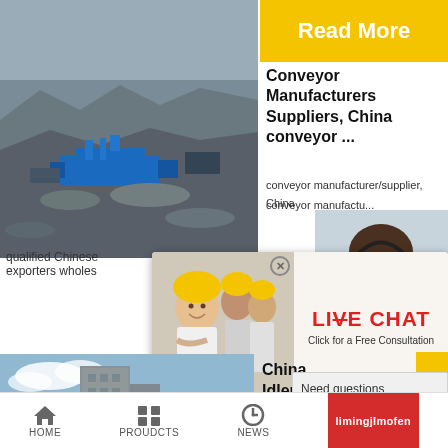[Figure (photo): Aerial/industrial mining or quarry site with blue machinery, rocky terrain and construction equipment]
[Figure (photo): Yellow hard-hat workers group photo used as live chat promotional image]
[Figure (screenshot): Live chat popup overlay with LIVE CHAT heading, 'Click for a Free Consultation', Chat now and Chat later buttons]
[Figure (photo): Customer support woman wearing headset, smiling - part of 24Hrs Online banner]
Read More
Conveyor Manufacturers Suppliers, China conveyor ...
conveyor manufacturer/supplier, China
conveyor manufactu...
24Hrs Online
qualified Chinese
exporters wholes
[Figure (photo): Industrial building with conveyor belt and blue sky]
China Idler manufact... Belt Conveyor...
Idler. Roller. Belt Co...
Need questions & suggestion?
Chat Now
Enquiry
limingjlmofen
HOME    PROUDCTS    NEWS